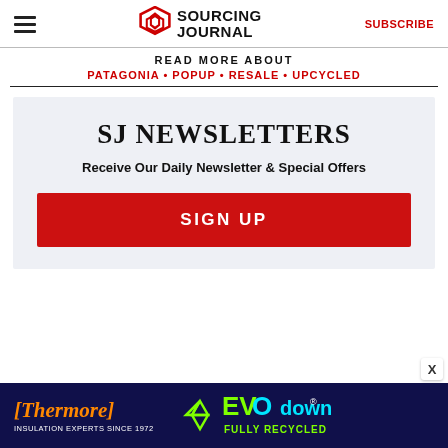Sourcing Journal — SUBSCRIBE
READ MORE ABOUT
PATAGONIA • POPUP • RESALE • UPCYCLED
SJ NEWSLETTERS
Receive Our Daily Newsletter & Special Offers
SIGN UP
[Figure (screenshot): Thermore EVO down advertisement banner — dark navy background with Thermore logo in orange italic font and EVO down in neon green/cyan text with FULLY RECYCLED tagline]